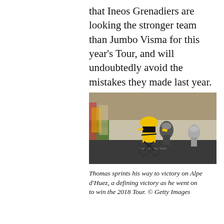that Ineos Grenadiers are looking the stronger team than Jumbo Visma for this year's Tour, and will undoubtedly avoid the mistakes they made last year.
[Figure (photo): A cyclist wearing a yellow jersey and yellow helmet sprints ahead of other cyclists toward the finish line, with crowds lining the barriers on the left side. Tour de France stage finish on Alpe d'Huez.]
Thomas sprints his way to victory on Alpe d'Huez, a defining victory as he went on to win the 2018 Tour. © Getty Images